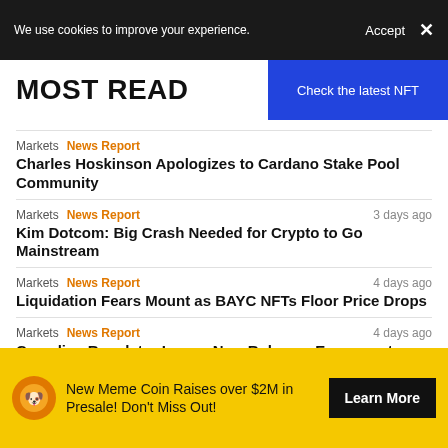We use cookies to improve your experience.  Accept  ×
MOST READ
[Figure (other): Blue button: Check the latest NFT]
Markets  News Report
Charles Hoskinson Apologizes to Cardano Stake Pool Community
Markets  News Report  3 days ago
Kim Dotcom: Big Crash Needed for Crypto to Go Mainstream
Markets  News Report  4 days ago
Liquidation Fears Mount as BAYC NFTs Floor Price Drops
Markets  News Report  4 days ago
Canadian Regulator Issues New Rules on Exposure to Cryptocurrencies for Entities Under Its Supervision
[Figure (other): Yellow banner: New Meme Coin Raises over $2M in Presale! Don't Miss Out! Learn More button]